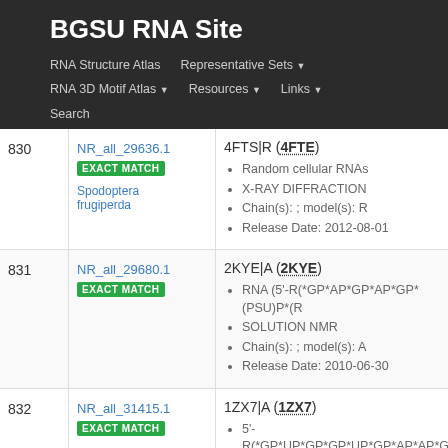BGSU RNA Site
RNA Structure Atlas | Representative Sets ▾ | RNA 3D Motif Atlas ▾ | Resources ▾ | Links ▾ | Search
| # | ID | Details |
| --- | --- | --- |
| 830 | NR_all_29636.1
EXACT MATCH
Spodoptera frugiperda | 4FTS|R (4FTE)
• Random cellular RNAs
• X-RAY DIFFRACTION
• Chain(s): ; model(s): R
• Release Date: 2012-08-01 |
| 831 | NR_all_29680.1
EXACT MATCH | 2KYE|A (2KYE)
• RNA (5'-R(*GP*AP*GP*AP*GP*(PSU)P*(R...
• SOLUTION NMR
• Chain(s): ; model(s): A
• Release Date: 2010-06-30 |
| 832 | NR_all_31415.1
EXACT MATCH | 1ZX7|A (1ZX7)
• 5'-R(*GP*UP*GP*GP*UP*GP*AP*AP*GP*UP... |